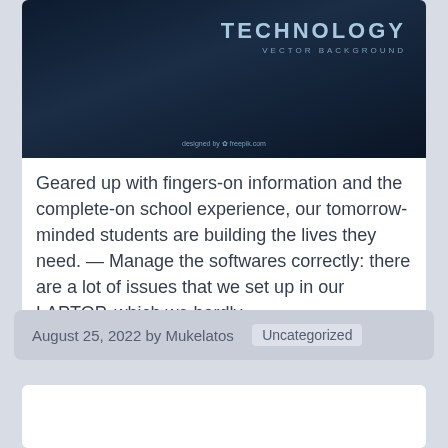[Figure (illustration): Technology vector background image with dark navy blue gradient, 'TECHNOLOGY' text in light blue on the right, 'VECTOR BACKGROUND' subtitle below, and 'designed by freepik.com' credit at the bottom center.]
Geared up with fingers-on information and the complete-on school experience, our tomorrow-minded students are building the lives they need. — Manage the softwares correctly: there are a lot of issues that we set up in our LAPTOP, which we hardly …
August 25, 2022 by Mukelatos  Uncategorized